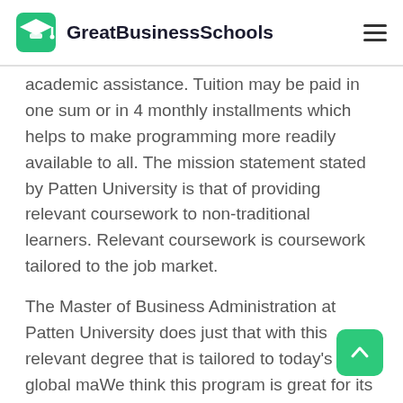GreatBusinessSchools
academic assistance. Tuition may be paid in one sum or in 4 monthly installments which helps to make programming more readily available to all. The mission statement stated by Patten University is that of providing relevant coursework to non-traditional learners. Relevant coursework is coursework tailored to the job market.
The Master of Business Administration at Patten University does just that with this relevant degree that is tailored to today's global ma... We think this program is great for its value– as it